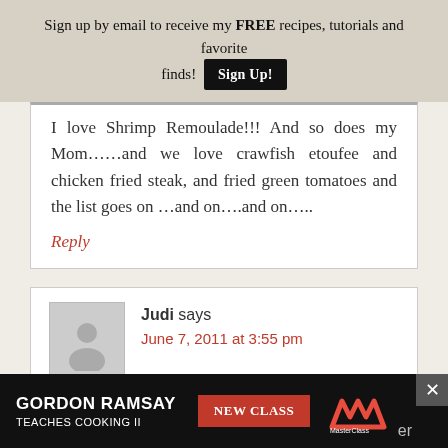Sign up by email to receive my FREE recipes, tutorials and favorite finds!
I love Shrimp Remoulade!!! And so does my Mom……and we love crawfish etoufee and chicken fried steak, and fried green tomatoes and the list goes on …and on….and on….
Reply
Judi says
June 7, 2011 at 3:55 pm
[Figure (infographic): Gordon Ramsay MasterClass advertisement banner: dark background with text 'GORDON RAMSAY TEACHES COOKING II', a red 'NEW CLASS' button, and MasterClass logo]